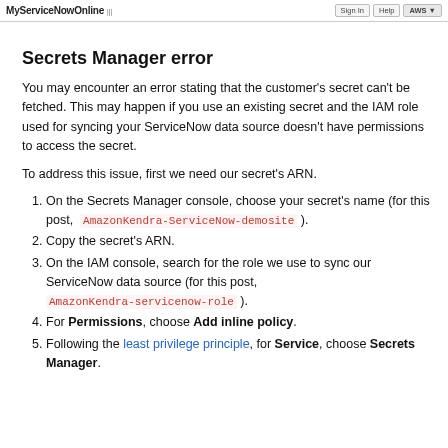MyServiceNowOnline
Secrets Manager error
You may encounter an error stating that the customer's secret can't be fetched. This may happen if you use an existing secret and the IAM role used for syncing your ServiceNow data source doesn't have permissions to access the secret.
To address this issue, first we need our secret's ARN.
On the Secrets Manager console, choose your secret's name (for this post, AmazonKendra-ServiceNow-demosite ).
Copy the secret's ARN.
On the IAM console, search for the role we use to sync our ServiceNow data source (for this post, AmazonKendra-servicenow-role ).
For Permissions, choose Add inline policy.
Following the least privilege principle, for Service, choose Secrets Manager.